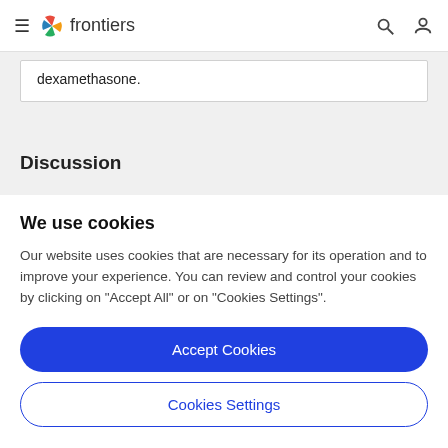frontiers
dexamethasone.
Discussion
We use cookies
Our website uses cookies that are necessary for its operation and to improve your experience. You can review and control your cookies by clicking on "Accept All" or on "Cookies Settings".
Accept Cookies
Cookies Settings